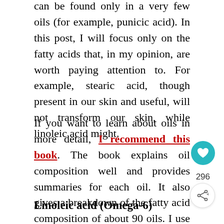can be found only in a very few oils (for example, punicic acid). In this post, I will focus only on the fatty acids that, in my opinion, are worth paying attention to. For example, stearic acid, though present in our skin and useful, will not transform our skin, while linoleic acid might.
If you want to learn about oils in more detail, I recommend this book. The book explains oil composition well and provides summaries for each oil. It also gives a breakdown of the fatty acid composition of about 90 oils. I use it as a reference all the time.
Linoleic acid (Omega-6)